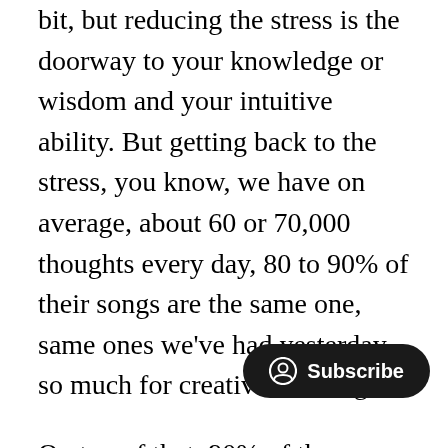bit, but reducing the stress is the doorway to your knowledge or wisdom and your intuitive ability. But getting back to the stress, you know, we have on average, about 60 or 70,000 thoughts every day, 80 to 90% of their songs are the same one, same ones we've had yesterday so much for creative thinking.
On top of that, 90% of them are negative, but it's not our fault. Yeah, we beat ourselves up, but we have an ingrained defense mechanism and you're familiar with it. It's fight, flight or freeze. That was left over and it's hard wired in our brain. That's what we have to overcome. That's where the fear comes from.
Because back to caveman days, there that could eat you behind that rock. You know, a bear, a